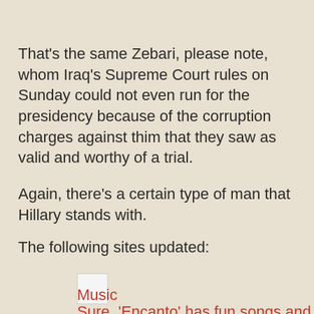That's the same Zebari, please note, whom Iraq's Supreme Court rules on Sunday could not even run for the presidency because of the corruption charges against thim that they saw as valid and worthy of a trial.
Again, there's a certain type of man that Hillary stands with.
The following sites updated:
[Figure (other): Small white square thumbnail image placeholder]
Music
Sure, 'Encanto' has fun songs and a sweet